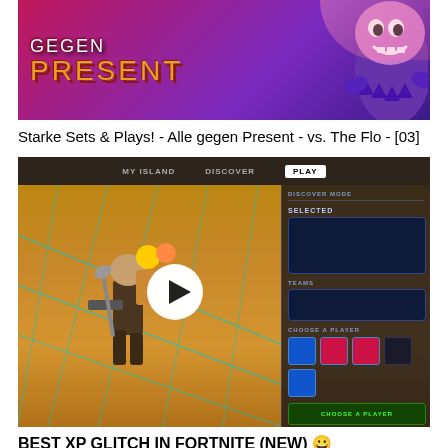[Figure (screenshot): Thumbnail for 'Alle gegen Present' video - game show style with purple/pink gradient background, 'GEGEN' and 'PRESENT' text in styled fonts, cartoon villain character on the right]
Starke Sets & Plays! - Alle gegen Present - vs. The Flo - [03]
[Figure (screenshot): Fortnite gameplay screenshot showing a player character in a golden/orange creative map with a UI menu panel on the right side. Play button overlay in the center.]
BEST XP GLITCH IN FORTNITE (NEW) 😀
[Figure (screenshot): Partial thumbnail showing a person with green neon accents on dark background, partially cut off at bottom of page]